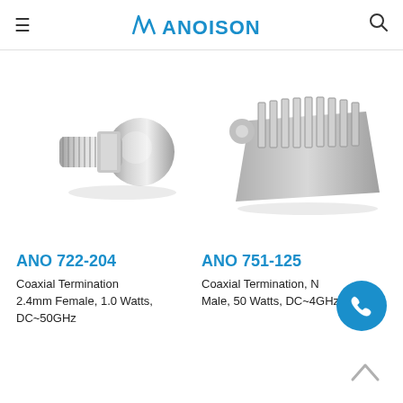ANOISON
[Figure (photo): Silver coaxial termination connector, 2.4mm female type, compact cylindrical shape with threaded end]
[Figure (photo): Silver coaxial termination with heat sink fins, N male type, 50 watts]
ANO 722-204
Coaxial Termination 2.4mm Female, 1.0 Watts, DC~50GHz
ANO 751-125
Coaxial Termination, N Male, 50 Watts, DC~4GHz